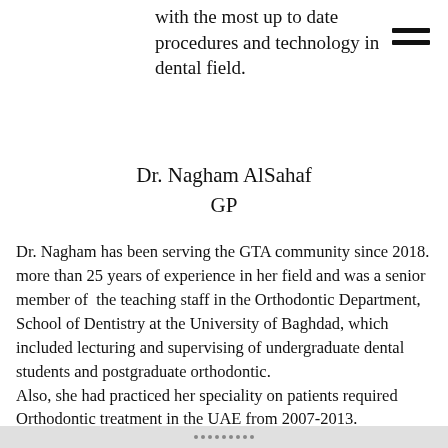with the most up to date procedures and technology in dental field.
Dr. Nagham AlSahaf
GP
Dr. Nagham has been serving the GTA community since 2018. more than 25 years of experience in her field and was a senior member of the teaching staff in the Orthodontic Department, School of Dentistry at the University of Baghdad, which included lecturing and supervising of undergraduate dental students and postgraduate orthodontic.
Also, she had practiced her speciality on patients required Orthodontic treatment in the UAE from 2007-2013.
Currently, Alsahaf lives and practicing dentistry in canada.